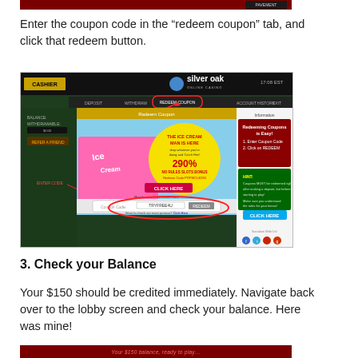[Figure (screenshot): Top partial screenshot of a casino website with dark red header bar]
Enter the coupon code in the “redeem coupon” tab, and click that redeem button.
[Figure (screenshot): Screenshot of Silver Oak online casino cashier page showing the Redeem Coupon tab highlighted with a red arrow, an Ice Cream promotion banner with 290% no rules slots bonus code POPSICLE290, a coupon code input field with TRYFREE4U entered, and a REDEEM button circled in red. Right panel shows instructions: Redeedming Coupons is Easy! 1. Enter Coupon Code 2. Click on REDEEM, with a HINT and CLICK HERE button.]
3. Check your Balance
Your $150 should be credited immediately. Navigate back over to the lobby screen and check your balance. Here was mine!
[Figure (screenshot): Bottom partial screenshot of casino balance screen with red text]